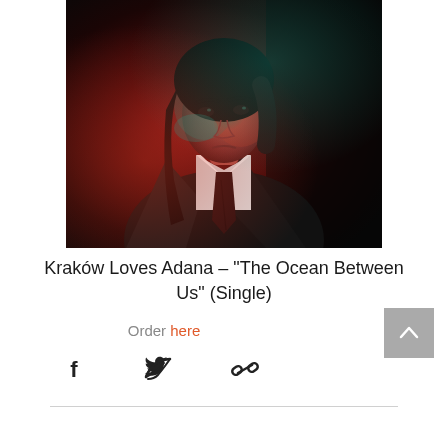[Figure (photo): A person with dark hair wearing a dark suit jacket with a white collared shirt and dark tie, lit with red and teal/green lighting against a dark background.]
Kraków Loves Adana – “The Ocean Between Us” (Single)
Order here
[Figure (other): Back to top arrow button (grey square with upward chevron)]
[Figure (other): Social share icons: Facebook, Twitter, copy link]